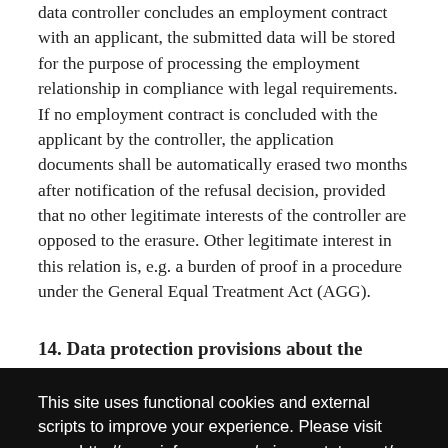data controller concludes an employment contract with an applicant, the submitted data will be stored for the purpose of processing the employment relationship in compliance with legal requirements. If no employment contract is concluded with the applicant by the controller, the application documents shall be automatically erased two months after notification of the refusal decision, provided that no other legitimate interests of the controller are opposed to the erasure. Other legitimate interest in this relation is, e.g. a burden of proof in a procedure under the General Equal Treatment Act (AGG).
14. Data protection provisions about the
[Figure (screenshot): Cookie consent overlay with black background. Text reads: 'This site uses functional cookies and external scripts to improve your experience. Please visit page http://www.inforexx.com/privacy-statement/ for more details'. Buttons: 'My settings' and 'Accept'. Blue circular Messenger icon in bottom right.]
flows on Internet sites. The real-time analysis includes project